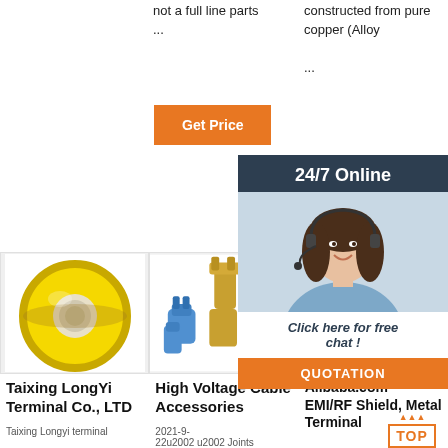not a full line parts ...
constructed from pure copper (Alloy ...
[Figure (other): Orange 'Get Price' button]
[Figure (other): Orange 'Get' button]
[Figure (other): 24/7 Online popup with woman on headset, 'Click here for free chat!' and orange QUOTATION button]
[Figure (photo): Yellow electrical tape roll on white background]
[Figure (photo): High voltage cable accessories - connectors and terminals in blue, pink, gold colors]
[Figure (photo): EMI/RF Shield metal terminal - cyan/teal wires on white background]
Taixing LongYi Terminal Co., LTD
High Voltage Cable Accessories
Alibaba.com - EMI/RF Shield, Metal Terminal
Taixing Longyi terminal
2021-9-22u2002u2002Joints